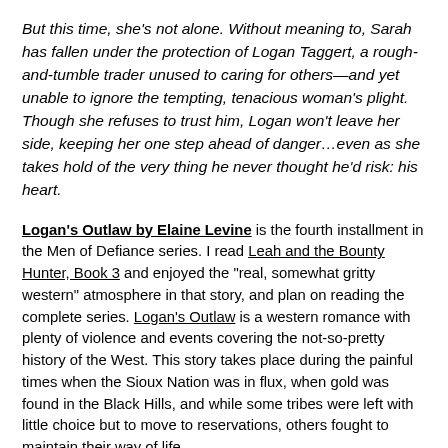But this time, she's not alone. Without meaning to, Sarah has fallen under the protection of Logan Taggert, a rough-and-tumble trader unused to caring for others—and yet unable to ignore the tempting, tenacious woman's plight. Though she refuses to trust him, Logan won't leave her side, keeping her one step ahead of danger…even as she takes hold of the very thing he never thought he'd risk: his heart.
Logan's Outlaw by Elaine Levine is the fourth installment in the Men of Defiance series. I read Leah and the Bounty Hunter, Book 3 and enjoyed the "real, somewhat gritty western" atmosphere in that story, and plan on reading the complete series. Logan's Outlaw is a western romance with plenty of violence and events covering the not-so-pretty history of the West. This story takes place during the painful times when the Sioux Nation was in flux, when gold was found in the Black Hills, and while some tribes were left with little choice but to move to reservations, others fought to maintain their way of life.